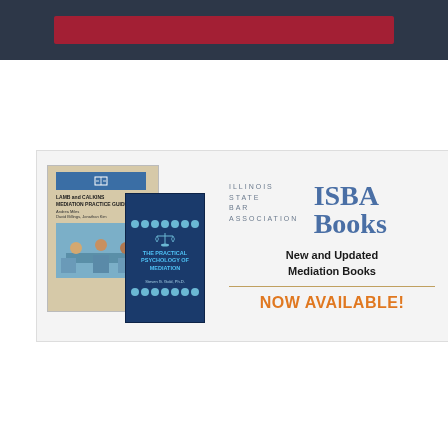[Figure (illustration): Dark gray header bar with a red/crimson rectangular banner centered inside]
[Figure (illustration): ISBA Books advertisement banner showing two book covers (Lamb and Calkins Mediation Practice Guide, The Practical Psychology of Mediation) with text: ILLINOIS STATE BAR ASSOCIATION, ISBA Books, New and Updated Mediation Books, NOW AVAILABLE!]
[Figure (logo): Illinois State Bar Association logo — scales of justice in dark red/crimson with ILLINOIS STATE text below, on light gray background]